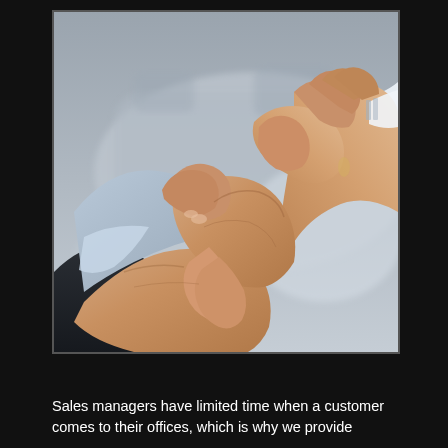[Figure (photo): Close-up photograph of two people in business attire shaking hands, with a blurred vehicle background. One person wears a dark suit, the other a light/white shirt.]
Sales managers have limited time when a customer comes to their offices, which is why we provide